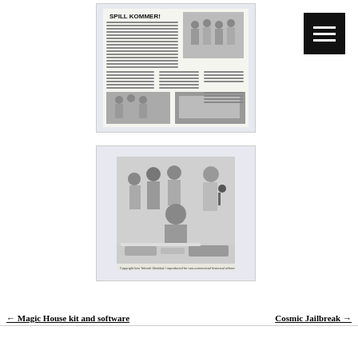[Figure (photo): Scanned newspaper page with headline SPILL KOMMER! showing multiple photos of young people and columns of text]
[Figure (photo): Black and white photograph of several young people gathered around a table with papers and equipment, one person speaking into a microphone]
← Magic House kit and software
Cosmic Jailbreak →